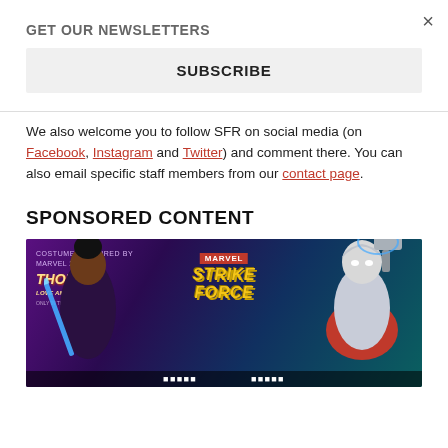×
GET OUR NEWSLETTERS
SUBSCRIBE
We also welcome you to follow SFR on social media (on Facebook, Instagram and Twitter) and comment there. You can also email specific staff members from our contact page.
SPONSORED CONTENT
[Figure (photo): Marvel Strike Force promotional advertisement featuring two female characters from Thor: Love and Thunder. Left character holds a blue sword, right character wears Thor costume with hammer. Marvel Strike Force logo displayed prominently.]